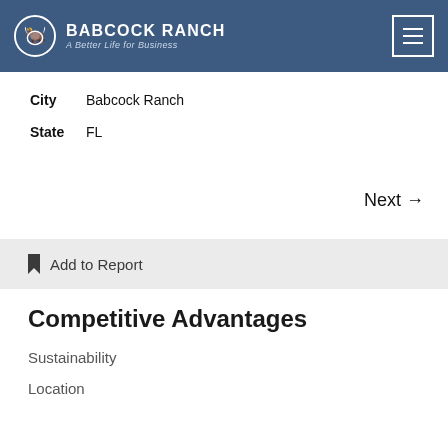BABCOCK RANCH — A Better Life for Business
City  Babcock Ranch
State  FL
Next →
Add to Report
Competitive Advantages
Sustainability
Location